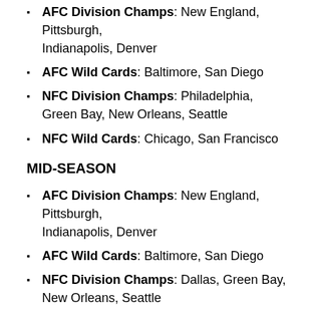AFC Division Champs: New England, Pittsburgh, Indianapolis, Denver
AFC Wild Cards: Baltimore, San Diego
NFC Division Champs: Philadelphia, Green Bay, New Orleans, Seattle
NFC Wild Cards: Chicago, San Francisco
MID-SEASON
AFC Division Champs: New England, Pittsburgh, Indianapolis, Denver
AFC Wild Cards: Baltimore, San Diego
NFC Division Champs: Dallas, Green Bay, New Orleans, Seattle
NFC Wild Cards: Arizona, Philadelphia
So where did I mess up? I had a total blind spot when it came to New Orleans. They were bested by the 7-8-1